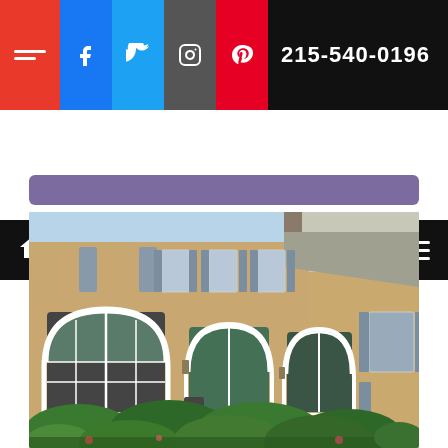[Figure (screenshot): Website header with social media icons (Facebook, Twitter, Instagram, Pinterest), red bar, and phone number 215-540-0196 on black background]
[Figure (screenshot): Navigation bar with home icon on left and hamburger menu on right, black background]
[Figure (photo): Exterior photo of a large stucco house with white arched windows, shutters, and green bushes in foreground]